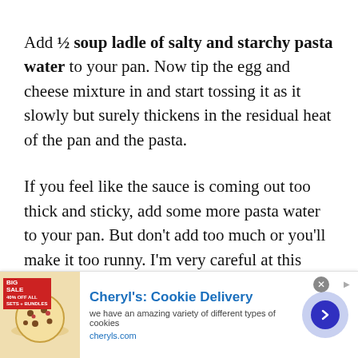Add ½ soup ladle of salty and starchy pasta water to your pan. Now tip the egg and cheese mixture in and start tossing it as it slowly but surely thickens in the residual heat of the pan and the pasta.
If you feel like the sauce is coming out too thick and sticky, add some more pasta water to your pan. But don't add too much or you'll make it too runny. I'm very careful at this step, only adding ¼ ladle of water at a time.
[Figure (other): Advertisement banner for Cheryl's Cookie Delivery featuring a cookie image, title 'Cheryl's: Cookie Delivery', subtitle 'we have an amazing variety of different types of cookies', URL 'cheryls.com', and a navigation arrow button.]